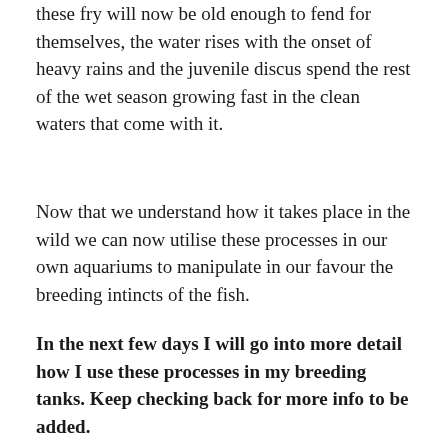these fry will now be old enough to fend for themselves, the water rises with the onset of heavy rains and the juvenile discus spend the rest of the wet season growing fast in the clean waters that come with it.
Now that we understand how it takes place in the wild we can now utilise these processes in our own aquariums to manipulate in our favour the breeding intincts of the fish.
In the next few days I will go into more detail how I use these processes in my breeding tanks. Keep checking back for more info to be added.